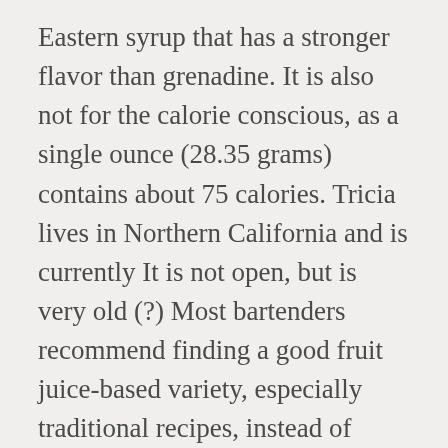Eastern syrup that has a stronger flavor than grenadine. It is also not for the calorie conscious, as a single ounce (28.35 grams) contains about 75 calories. Tricia lives in Northern California and is currently It is not open, but is very old (?) Most bartenders recommend finding a good fruit juice-based variety, especially traditional recipes, instead of resorting to ones made from artificial flavors and colors. If you like a grenadine that has a more tart bite, feel free to add a dash of fresh lemon juice to-taste to your syrup mixture. medicine, art, film, history, politics, ethics, and religion. It's also a popular choice for mixing up mocktails. It is commonly used to make a number of different alcoholic and non-